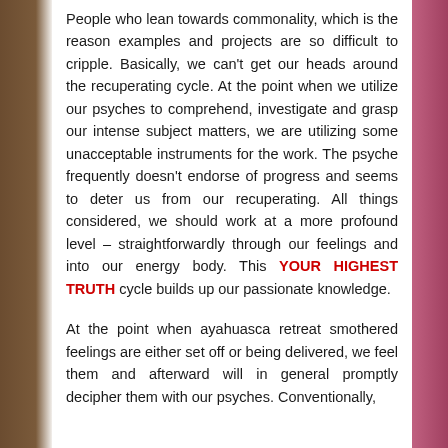People who lean towards commonality, which is the reason examples and projects are so difficult to cripple. Basically, we can't get our heads around the recuperating cycle. At the point when we utilize our psyches to comprehend, investigate and grasp our intense subject matters, we are utilizing some unacceptable instruments for the work. The psyche frequently doesn't endorse of progress and seems to deter us from our recuperating. All things considered, we should work at a more profound level – straightforwardly through our feelings and into our energy body. This YOUR HIGHEST TRUTH cycle builds up our passionate knowledge.
At the point when ayahuasca retreat smothered feelings are either set off or being delivered, we feel them and afterward will in general promptly decipher them with our psyches. Conventionally,